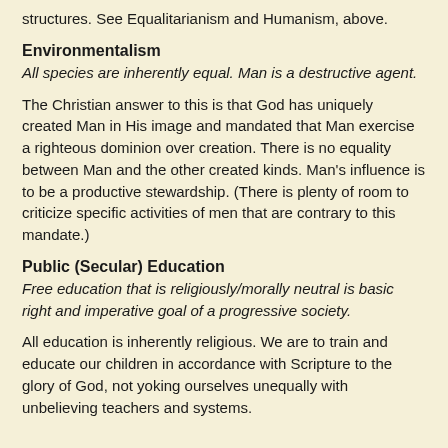structures. See Equalitarianism and Humanism, above.
Environmentalism
All species are inherently equal. Man is a destructive agent.
The Christian answer to this is that God has uniquely created Man in His image and mandated that Man exercise a righteous dominion over creation. There is no equality between Man and the other created kinds. Man's influence is to be a productive stewardship. (There is plenty of room to criticize specific activities of men that are contrary to this mandate.)
Public (Secular) Education
Free education that is religiously/morally neutral is basic right and imperative goal of a progressive society.
All education is inherently religious. We are to train and educate our children in accordance with Scripture to the glory of God, not yoking ourselves unequally with unbelieving teachers and systems.